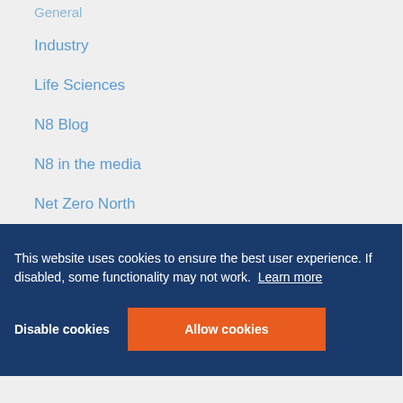General
Industry
Life Sciences
N8 Blog
N8 in the media
Net Zero North
This website uses cookies to ensure the best user experience. If disabled, some functionality may not work. Learn more
Disable cookies
Allow cookies